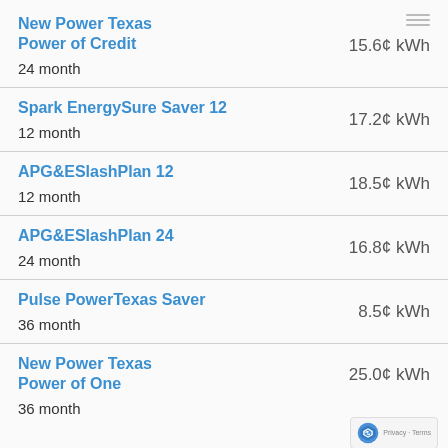New Power Texas Power of Credit
24 month
15.6¢ kWh
Spark EnergySure Saver 12
12 month
17.2¢ kWh
APG&ESlashPlan 12
12 month
18.5¢ kWh
APG&ESlashPlan 24
24 month
16.8¢ kWh
Pulse PowerTexas Saver
36 month
8.5¢ kWh
New Power Texas Power of One
36 month
25.0¢ kWh